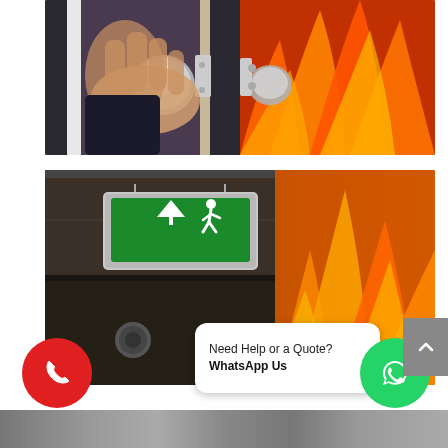[Figure (photo): Photo of hands gripping a door handle/knob on the left side, with fire and flames visible on the right side of the door, suggesting a fire door scenario.]
[Figure (photo): Photo of a ceiling-mounted green fire exit sign (showing an arrow pointing up and a running person icon) with fire and flames visible in the background on the right side.]
Need Help or a Quote?
WhatsApp Us